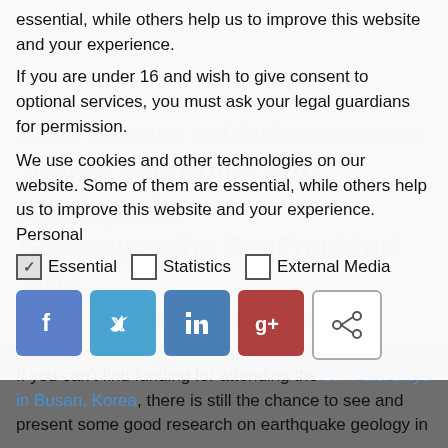essential, while others help us to improve this website and your experience.
If you are under 16 and wish to give consent to optional services, you must ask your legal guardians for permission.
We use cookies and other technologies on our website. Some of them are essential, while others help us to improve this website and your experience. Personal
[Figure (screenshot): Cookie consent overlay showing checkboxes for Essential (checked), Statistics (unchecked), and External Media (unchecked); social sharing buttons for Facebook, Twitter, LinkedIn, Google+, and a share icon; background watermark text reading 'Active Tectonics and Earthquake Geology at the GeoFrankfurt 2014' and a date/author line.]
If you can't find funding for attending the 5th Pata-Days in Busan, Korea, there is still the chance to see and present some good research on earthquake geology in